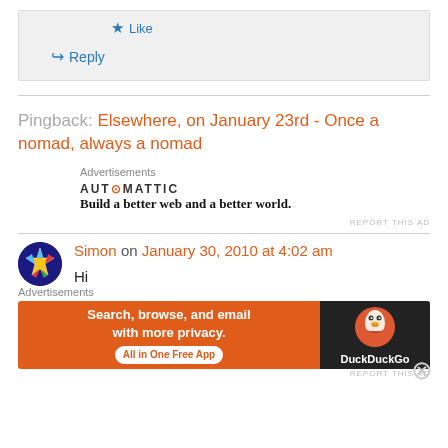Like
Reply
Pingback: Elsewhere, on January 23rd - Once a nomad, always a nomad
Advertisements
[Figure (logo): Automattic logo and tagline: Build a better web and a better world.]
REPORT THIS AD
Simon on January 30, 2010 at 4:02 am
Hi
Advertisements
[Figure (screenshot): DuckDuckGo advertisement: Search, browse, and email with more privacy. All in One Free App. DuckDuckGo logo on dark background.]
REPORT THIS AD